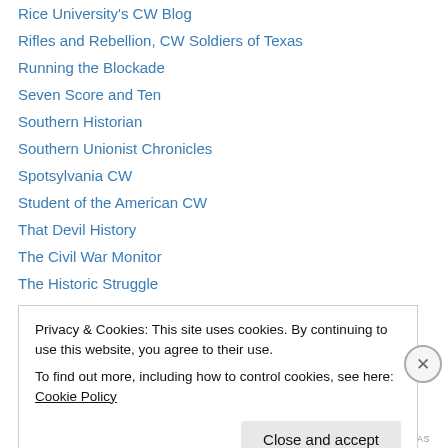Rice University's CW Blog
Rifles and Rebellion, CW Soldiers of Texas
Running the Blockade
Seven Score and Ten
Southern Historian
Southern Unionist Chronicles
Spotsylvania CW
Student of the American CW
That Devil History
The Civil War Monitor
The Historic Struggle
The Irish in the Civil War
The Jackson County War (FL)
Privacy & Cookies: This site uses cookies. By continuing to use this website, you agree to their use. To find out more, including how to control cookies, see here: Cookie Policy
REDIRECT TING AS